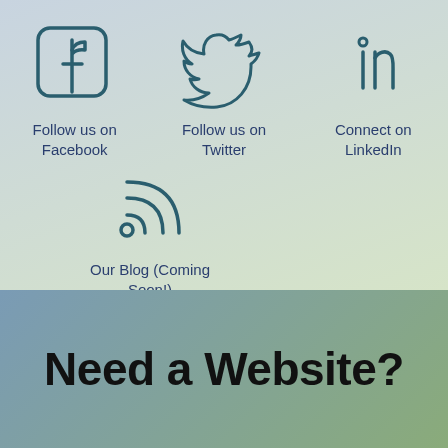[Figure (illustration): Facebook icon (rounded square with 'f' letterform), Twitter bird icon, LinkedIn 'in' icon, RSS feed icon - social media icons in dark teal/navy outline style on gradient blue-green background]
Follow us on Facebook
Follow us on Twitter
Connect on LinkedIn
Our Blog (Coming Soon!)
Need a Website?